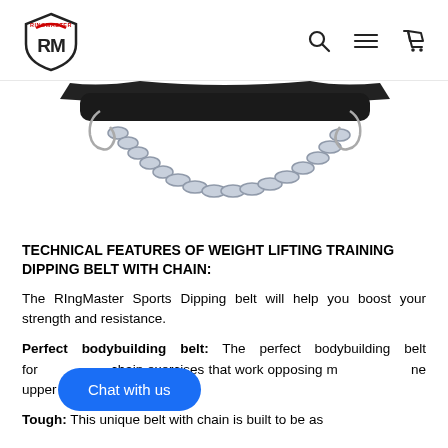RIngMaster Sports logo and navigation (search, menu, cart)
[Figure (photo): Close-up photo of a black dipping belt with steel chain attached, showing the chain hanging below the belt pad against a white background.]
TECHNICAL FEATURES OF WEIGHT LIFTING TRAINING DIPPING BELT WITH CHAIN:
The RIngMaster Sports Dipping belt will help you boost your strength and resistance.
Perfect bodybuilding belt: The perfect bodybuilding belt for chain exercises that work opposing muscles of the upper body.
Tough: This unique belt with chain is built to be as